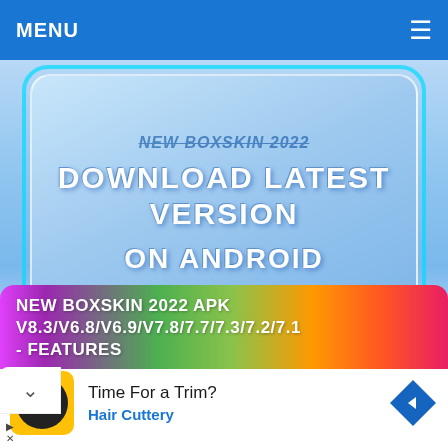MENU ≡
[Figure (screenshot): Blue gradient banner with white bold text reading 'DOWNLOAD LATEST VERSION ON ANDROID' inside a rounded rectangle card. Partially visible top text appears to reference 'NEW BOXSKIN 2022'.]
NEW BOXSKIN 2022 APK V8.3/V6.8/V6.9/V7.8/7.7/7.3/7.2/7.1 - FEATURES
Time For a Trim? Hair Cuttery